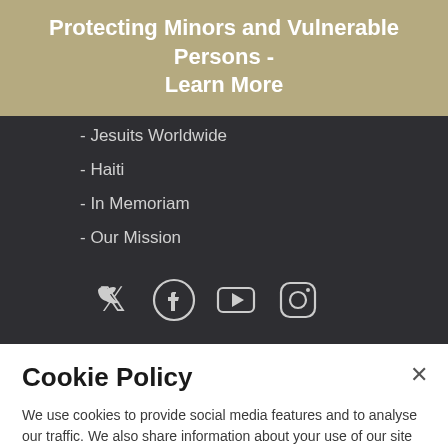Protecting Minors and Vulnerable Persons - Learn More
- Jesuits Worldwide
- Haiti
- In Memoriam
- Our Mission
[Figure (infographic): Social media icons: Twitter, Facebook, YouTube, Instagram]
Cookie Policy
We use cookies to provide social media features and to analyse our traffic. We also share information about your use of our site with our social media and analytics partners.
Cookies Settings   Accept All Cookies